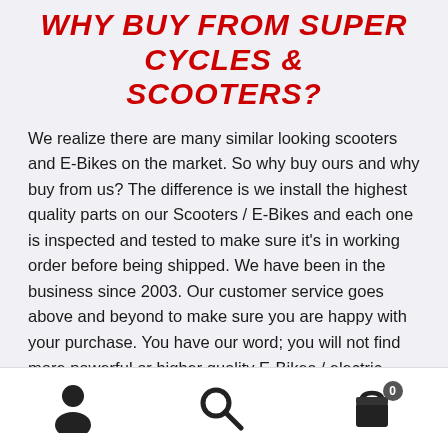Why Buy From Super Cycles & Scooters?
We realize there are many similar looking scooters and E-Bikes on the market. So why buy ours and why buy from us? The difference is we install the highest quality parts on our Scooters / E-Bikes and each one is inspected and tested to make sure it's in working order before being shipped. We have been in the business since 2003. Our customer service goes above and beyond to make sure you are happy with your purchase. You have our word; you will not find more powerful or higher quality E-Bikes / electric scooters. Do your research! We have thousands of positive reviews found on several websites including Amazon.com, YouTube, and many others. We also have an A+ BBB (Better
Navigation bar with person, search, and cart icons